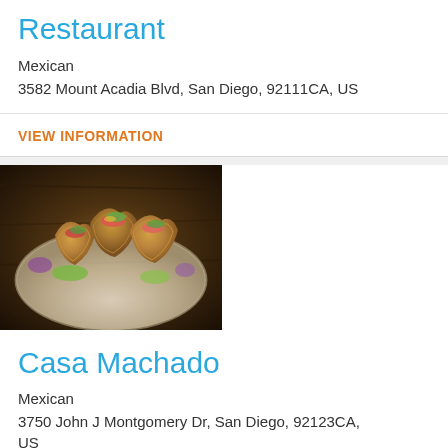Restaurant
Mexican
3582 Mount Acadia Blvd, San Diego, 92111CA, US
VIEW INFORMATION
[Figure (photo): Photo of tacos on a plate with garnishes, displayed on a dark wooden table background]
Casa Machado
Mexican
3750 John J Montgomery Dr, San Diego, 92123CA, US